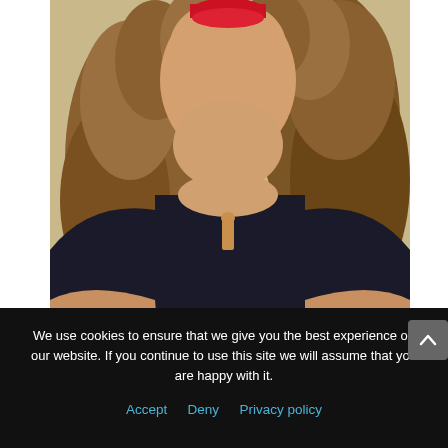[Figure (photo): Portrait photo of a woman with curly blonde-brown hair, red lipstick, wearing a black short-sleeve dress with a keyhole neckline, against a neutral beige background. Only head, neck, and torso visible.]
We use cookies to ensure that we give you the best experience on our website. If you continue to use this site we will assume that you are happy with it.
Accept   Deny   Privacy policy